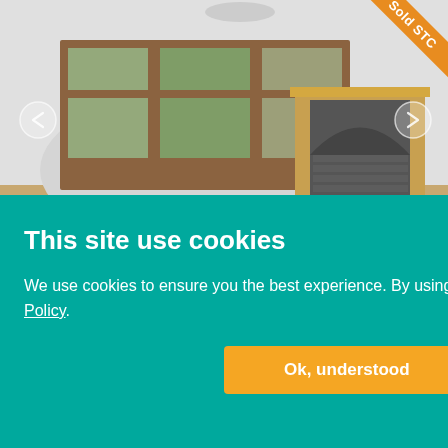[Figure (photo): Interior photo of a living room with bay windows, wooden floors, and a stone fireplace with wooden surround. A 'Sold STC' orange banner is in the top-right corner. Left and right navigation arrows are visible on the photo.]
This site use cookies
We use cookies to ensure you the best experience. By using our website you agree to our Cookie Policy.
Ok, understood